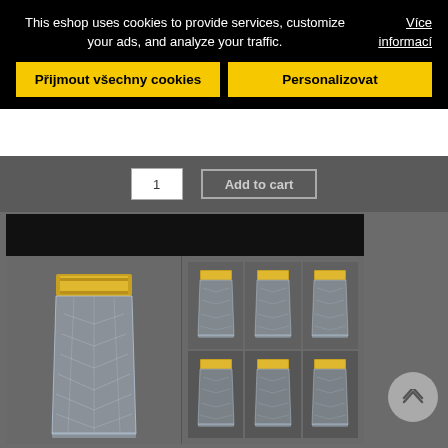This eshop uses cookies to provide services, customize your ads, and analyze your traffic.
Více informací
Přijmout všechny cookies
Personalizovat
1
Add to cart
[Figure (photo): Crystal shot glasses set with gold rim decoration, showing one large glass on the left and six smaller glasses arranged in a 3x2 grid on the right, all with faceted crystal pattern and gold band at top]